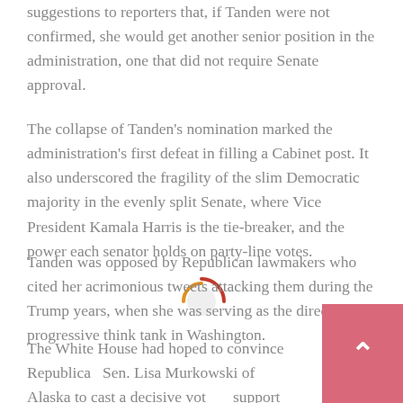suggestions to reporters that, if Tanden were not confirmed, she would get another senior position in the administration, one that did not require Senate approval.
The collapse of Tanden's nomination marked the administration's first defeat in filling a Cabinet post. It also underscored the fragility of the slim Democratic majority in the evenly split Senate, where Vice President Kamala Harris is the tie-breaker, and the power each senator holds on party-line votes.
[Figure (other): Loading spinner icon — a partial circle arc in orange/red color indicating page loading]
Tanden was opposed by Republican lawmakers who cited her acrimonious tweets attacking them during the Trump years, when she was serving as the director of a progressive think tank in Washington.
The White House had hoped to convince Republican Sen. Lisa Murkowski of Alaska to cast a decisive vote in support of Tanden, in defiance of her party's united opposition to the nomination. On Tuesday evening,